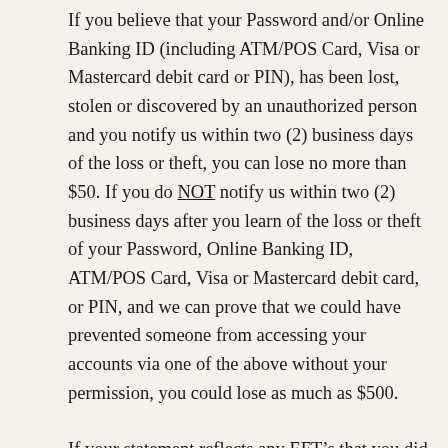If you believe that your Password and/or Online Banking ID (including ATM/POS Card, Visa or Mastercard debit card or PIN), has been lost, stolen or discovered by an unauthorized person and you notify us within two (2) business days of the loss or theft, you can lose no more than $50. If you do NOT notify us within two (2) business days after you learn of the loss or theft of your Password, Online Banking ID, ATM/POS Card, Visa or Mastercard debit card, or PIN, and we can prove that we could have prevented someone from accessing your accounts via one of the above without your permission, you could lose as much as $500.
If your statement reflects any EFT’s that you did not make or authorize, notify Gateway Bank at once. Failure to notify the Bank within sixty (60) days after